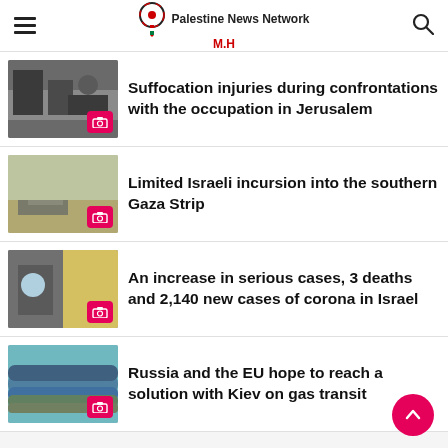Palestine News Network M.H
Suffocation injuries during confrontations with the occupation in Jerusalem
Limited Israeli incursion into the southern Gaza Strip
An increase in serious cases, 3 deaths and 2,140 new cases of corona in Israel
Russia and the EU hope to reach a solution with Kiev on gas transit